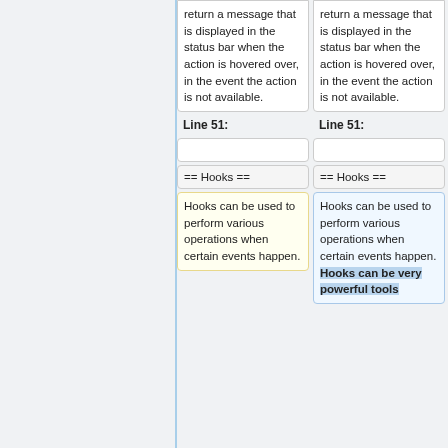return a message that is displayed in the status bar when the action is hovered over, in the event the action is not available.
return a message that is displayed in the status bar when the action is hovered over, in the event the action is not available.
Line 51:
Line 51:
== Hooks ==
== Hooks ==
Hooks can be used to perform various operations when certain events happen.
Hooks can be used to perform various operations when certain events happen. Hooks can be very powerful tools